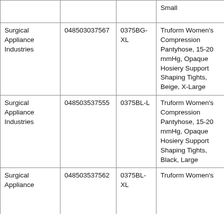|  |  |  | Small |
| --- | --- | --- | --- |
| Surgical Appliance Industries | 048503037567 | 0375BG-XL | Truform Women's Compression Pantyhose, 15-20 mmHg, Opaque Hosiery Support Shaping Tights, Beige, X-Large |
| Surgical Appliance Industries | 048503537555 | 0375BL-L | Truform Women's Compression Pantyhose, 15-20 mmHg, Opaque Hosiery Support Shaping Tights, Black, Large |
| Surgical Appliance Industries | 048503537562 | 0375BL-XL | Truform Women's Compression Pantyhose, 15-20 mmHg, Opaque Hosiery Support Shaping Tights, Black, X-Large (partial) |